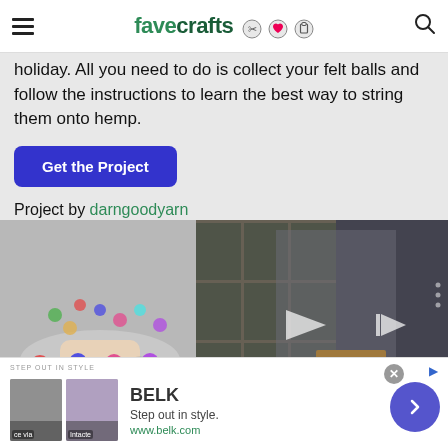favecrafts
holiday. All you need to do is collect your felt balls and follow the instructions to learn the best way to string them onto hemp.
Get the Project
Project by darngoodyarn
[Figure (photo): Left side: hands holding colorful felt ball garland. Right side: video player showing woman at craft table with shelving unit behind her, with play controls visible.]
[Figure (screenshot): Advertisement for BELK: Step out in style. www.belk.com with two thumbnail images and a navigation arrow button. Label reads STEP OUT IN STYLE.]